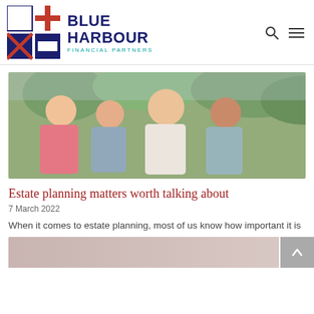Blue Harbour Financial Partners
[Figure (photo): Family photo showing four smiling adults outdoors — two men and two women of various ages, in casual clothing against a green garden background.]
Estate planning matters worth talking about
7 March 2022
When it comes to estate planning, most of us know how important it is to
Read More »